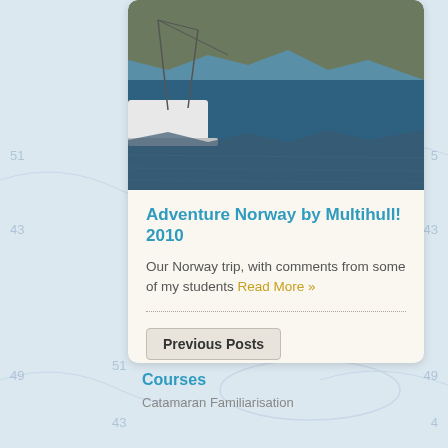[Figure (photo): Aerial or water-level photo of boats on a fjord or lake in Norway, with rocky mountainsides reflected in calm blue water]
Adventure Norway by Multihull! 2010
Our Norway trip, with comments from some of my students Read More »
Previous Posts
Courses
Catamaran Familiarisation